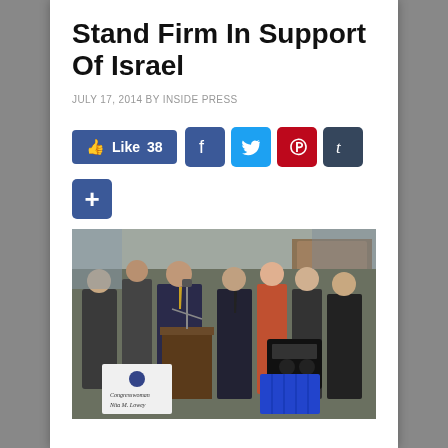Stand Firm In Support Of Israel
JULY 17, 2014 BY INSIDE PRESS
[Figure (screenshot): Social media sharing buttons: Facebook Like button showing 38 likes, Facebook share icon, Twitter share icon, Pinterest share icon, Tumblr share icon, and a Google+ share button below]
[Figure (photo): Group of people standing at a podium outdoors at a press conference, with a sign reading 'Congresswoman Nita M. Lowey' visible in the foreground. A man is speaking at the microphone. Several officials and attendees stand behind him.]